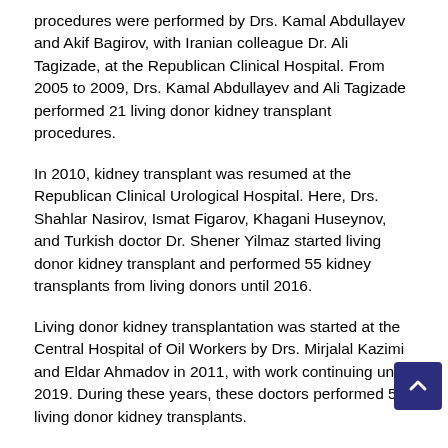procedures were performed by Drs. Kamal Abdullayev and Akif Bagirov, with Iranian colleague Dr. Ali Tagizade, at the Republican Clinical Hospital. From 2005 to 2009, Drs. Kamal Abdullayev and Ali Tagizade performed 21 living donor kidney transplant procedures.
In 2010, kidney transplant was resumed at the Republican Clinical Urological Hospital. Here, Drs. Shahlar Nasirov, Ismat Figarov, Khagani Huseynov, and Turkish doctor Dr. Shener Yilmaz started living donor kidney transplant and performed 55 kidney transplants from living donors until 2016.
Living donor kidney transplantation was started at the Central Hospital of Oil Workers by Drs. Mirjalal Kazimi and Eldar Ahmadov in 2011, with work continuing until 2019. During these years, these doctors performed 504 living donor kidney transplants.
At the Central Clinic Hospital, kidney transplant was started by Drs. Taryel Nadirov, Zaur Khalilov, and Dr. Ayhan Dinckan from Turkey in 2012, with transplants still being performed today. They have performed 44 living donor kidney transplant procedures.